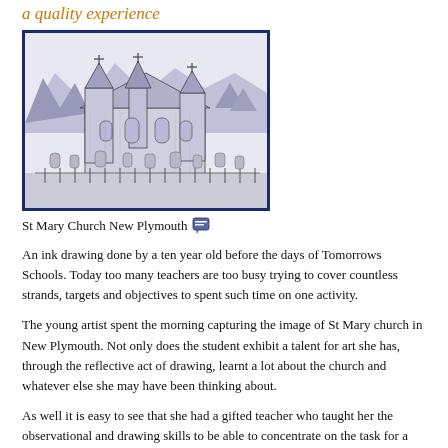a quality experience
[Figure (illustration): Ink drawing of St Mary Church New Plymouth, showing a gothic-style church with spires, gravestones in the foreground, and detailed cross-hatching style illustration by a ten-year-old student.]
St Mary Church New Plymouth
An ink drawing done by a ten year old before the days of Tomorrows Schools. Today too many teachers are too busy trying to cover countless strands, targets and objectives to spent such time on one activity.
The young artist spent the morning capturing the image of St Mary church in New Plymouth. Not only does the student exhibit a talent for art she has, through the reflective act of drawing, learnt a lot about the church and whatever else she may have been thinking about.
As well it is easy to see that she had a gifted teacher who taught her the observational and drawing skills to be able to concentrate on the task for a morning followed up by further work back at school.